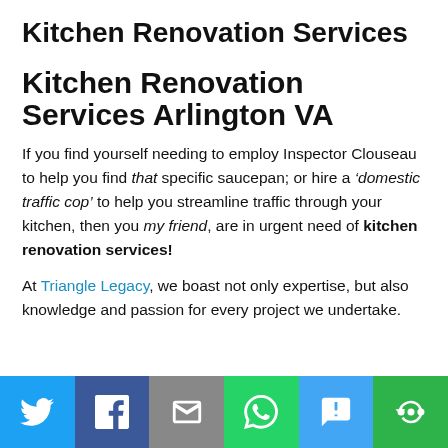Kitchen Renovation Services
Kitchen Renovation Services Arlington VA
If you find yourself needing to employ Inspector Clouseau to help you find that specific saucepan; or hire a ‘domestic traffic cop’ to help you streamline traffic through your kitchen, then you my friend, are in urgent need of kitchen renovation services!
At Triangle Legacy, we boast not only expertise, but also knowledge and passion for every project we undertake.
[Figure (infographic): Social sharing bar with six buttons: Twitter (light blue), Facebook (dark blue), Email (grey), WhatsApp (green), SMS (light blue), More (green)]